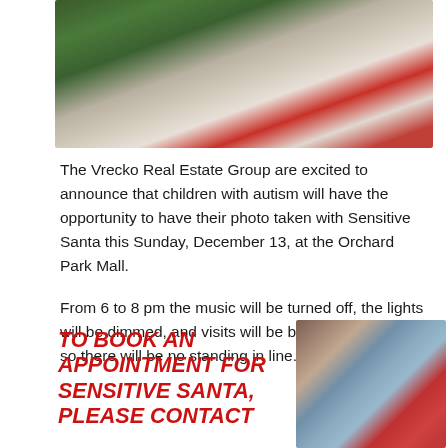[Figure (photo): Child with Santa Claus in front of a Christmas tree]
The Vrecko Real Estate Group are excited to announce that children with autism will have the opportunity to have their photo taken with Sensitive Santa this Sunday, December 13, at the Orchard Park Mall.
From 6 to 8 pm the music will be turned off, the lights will be dimmed, and visits will be by appointment only, so there will be no standing in line.
TO BOOK AN APPOINTMENT FOR SENSITIVE SANTA, PLEASE CONTACT
[Figure (photo): Child talking with Santa Claus]